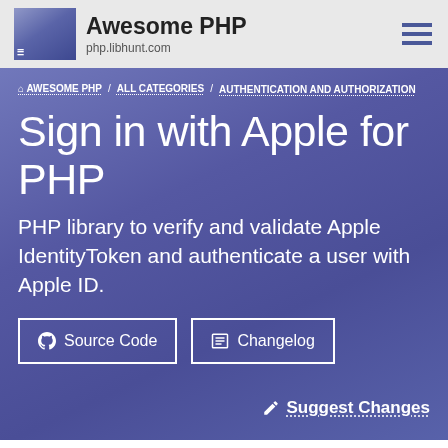Awesome PHP — php.libhunt.com
AWESOME PHP / ALL CATEGORIES / AUTHENTICATION AND AUTHORIZATION
Sign in with Apple for PHP
PHP library to verify and validate Apple IdentityToken and authenticate a user with Apple ID.
Source Code
Changelog
Suggest Changes